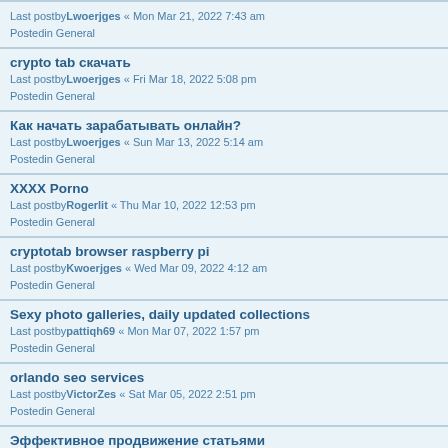Last postbyLwoerjges « Mon Mar 21, 2022 7:43 am
Postedin General
crypto tab скачать
Last postbyLwoerjges « Fri Mar 18, 2022 5:08 pm
Postedin General
Как начать зарабатывать онлайн?
Last postbyLwoerjges « Sun Mar 13, 2022 5:14 am
Postedin General
XXXX Porno
Last postbyRogerlit « Thu Mar 10, 2022 12:53 pm
Postedin General
cryptotab browser raspberry pi
Last postbyKwoerjges « Wed Mar 09, 2022 4:12 am
Postedin General
Sexy photo galleries, daily updated collections
Last postbypattiqh69 « Mon Mar 07, 2022 1:57 pm
Postedin General
orlando seo services
Last postbyVictorZes « Sat Mar 05, 2022 2:51 pm
Postedin General
Эффективное продвижение статьями
Last postbyKwoerjges « Sat Mar 05, 2022 2:34 am
Postedin General
Выполню услугу по размещению статей на сайтах web 2.0 недорого в городе Карауылкелди
Last postbyKwoerjges « Fri Mar 04, 2022 11:01 pm